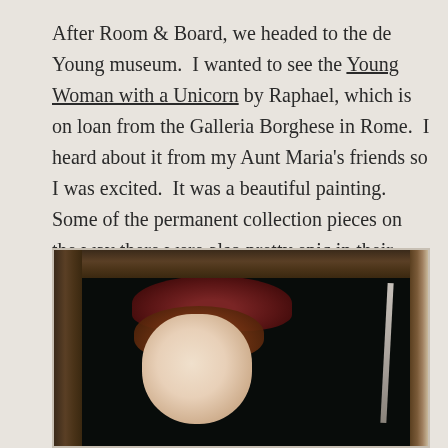After Room & Board, we headed to the de Young museum.  I wanted to see the Young Woman with a Unicorn by Raphael, which is on loan from the Galleria Borghese in Rome.  I heard about it from my Aunt Maria's friends so I was excited.  It was a beautiful painting.  Some of the permanent collection pieces on the way there were also pretty epic in their own way.  I took pictures of two of my favorites.
[Figure (photo): Photograph of a painting in a dark wooden frame, showing a young woman with auburn hair and a red hat, with a unicorn horn visible on the right side. The background of the painting is very dark/black.]